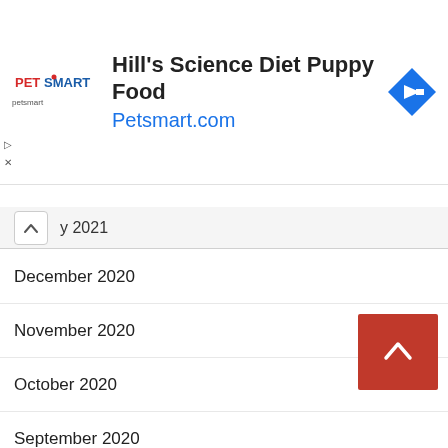[Figure (screenshot): PetSmart advertisement banner with logo, title 'Hill's Science Diet Puppy Food', URL 'Petsmart.com', and navigation arrow icon]
y 2021
December 2020
November 2020
October 2020
September 2020
August 2020
July 2020
June 2020
May 2020
April 2020